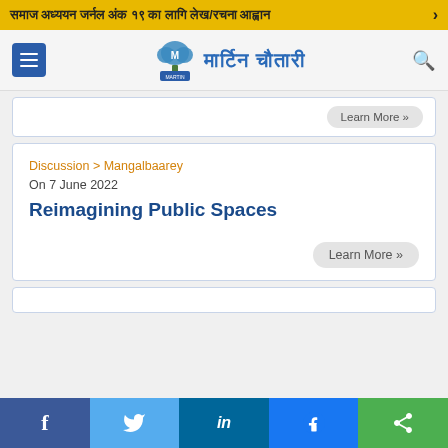समाज अध्ययन जर्नल अंक १९ का लागि लेख/रचना आह्वान ›
[Figure (logo): Martin Chautari logo with tree icon and Devanagari text मार्टिन चौतारी, with hamburger menu button and search icon]
Learn More »
Discussion > Mangalbaarey
On 7 June 2022
Reimagining Public Spaces
Learn More »
f  Twitter  in  Messenger  Share